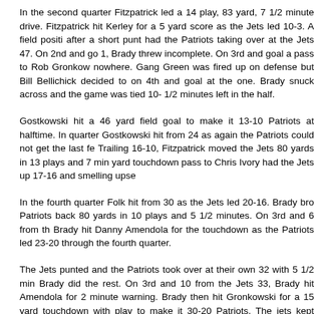In the second quarter Fitzpatrick led a 14 play, 83 yard, 7 1/2 minute drive. Fitzpatrick hit Kerley for a 5 yard score as the Jets led 10-3. A field position after a short punt had the Patriots taking over at the Jets 47. On 2nd and go 1, Brady threw incomplete. On 3rd and goal a pass to Rob Gronkow nowhere. Gang Green was fired up on defense but Bill Bellichick decided to on 4th and goal at the one. Brady snuck across and the game was tied 10- 1/2 minutes left in the half.
Gostkowski hit a 46 yard field goal to make it 13-10 Patriots at halftime. In quarter Gostkowski hit from 24 as again the Patriots could not get the last fe Trailing 16-10, Fitzpatrick moved the Jets 80 yards in 13 plays and 7 min yard touchdown pass to Chris Ivory had the Jets up 17-16 and smelling upse
In the fourth quarter Folk hit from 30 as the Jets led 20-16. Brady bro Patriots back 80 yards in 10 plays and 5 1/2 minutes. On 3rd and 6 from th Brady hit Danny Amendola for the touchdown as the Patriots led 23-20 through the fourth quarter.
The Jets punted and the Patriots took over at their own 32 with 5 1/2 min Brady did the rest. On 3rd and 10 from the Jets 33, Brady hit Amendola for 2 minute warning. Brady then hit Gronkowski for a 15 yard touchdown with play to make it 30-20 Patriots. The jets kept fighting.
Needing three miracles, the Jets got the first one when Folk drilled a 55 y goal to get the Jets within 7 points. They got a second miracle when they re the onside kick at their own 35. With 14 seconds left the Jets had the ball midfield. A completion to Eric Decker put the ball at the New England 3 trying to snap the ball, the Jets committed a false start with one second lof